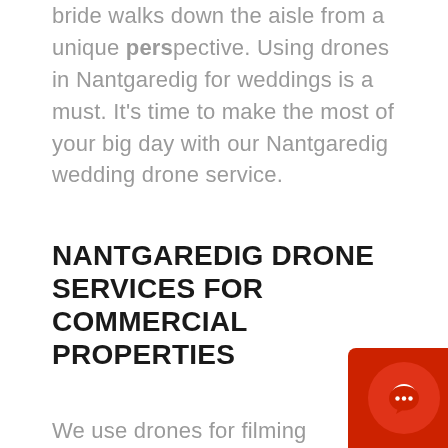bride walks down the aisle from a unique perspective. Using drones in Nantgaredig for weddings is a must. It's time to make the most of your big day with our Nantgaredig wedding drone service.
NANTGAREDIG DRONE SERVICES FOR COMMERCIAL PROPERTIES
We use drones for filming commercial properties in Nantgaredig. Our drones can make areal footage inside